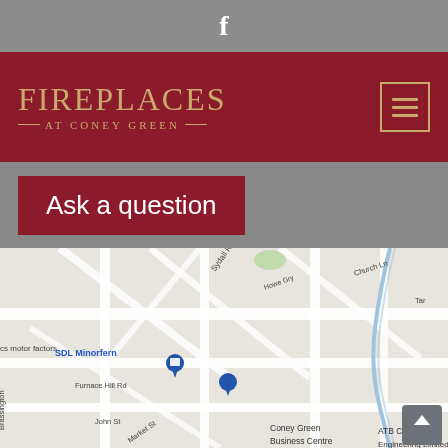[Figure (other): Facebook icon in grey bar]
FIREPLACES AT CONEY GREEN
Ask a question
[Figure (map): Google Maps screenshot showing Coney Green Business Centre area, with markers for SDL Minorfern, Egstow Park - Avant Homes, cs motor factors, and Coney Green Business Centre. Street labels include Sydall Rise, Furnace Hill Rd, John St, Market St, Howe Gry, Church Ln. Also shows ATB Civil Engineering Limited.]